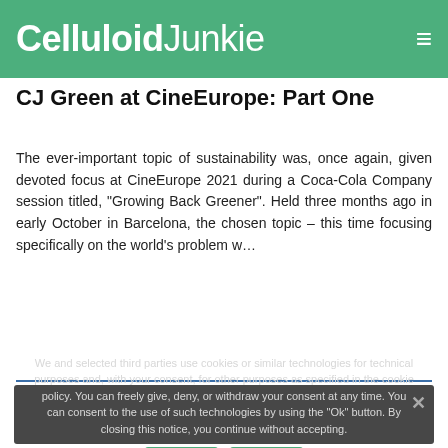Celluloid Junkie
CJ Green at CineEurope: Part One
The ever-important topic of sustainability was, once again, given devoted focus at CineEurope 2021 during a Coca-Cola Company session titled, "Growing Back Greener". Held three months ago in early October in Barcelona, the chosen topic – this time focusing specifically on the world's problem w…
We and selected third parties use cookies or similar technologies for technical purposes and, with your consent, for other purposes as specified in the cookie policy. You can freely give, deny, or withdraw your consent at any time. You can consent to the use of such technologies by using the "Ok" button. By closing this notice, you continue without accepting.